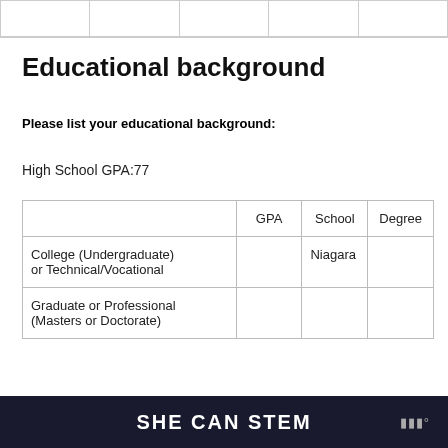|  |  |  |  |  |
| --- | --- | --- | --- | --- |
|  |
Educational background
Please list your educational background:
High School GPA:77
|  | GPA | School | Degree |
| --- | --- | --- | --- |
| College (Undergraduate) or Technical/Vocational |  | Niagara |  |
| Graduate or Professional (Masters or Doctorate) |  |  |  |
SHE CAN STEM